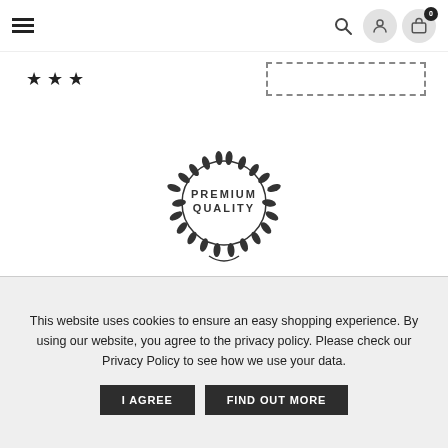Navigation header with hamburger menu, search icon, account icon, and bag icon with 0 badge
[Figure (illustration): Star rating row with three stars and a dotted rectangle placeholder on the right]
[Figure (logo): Premium Quality badge — circular laurel wreath with text PREMIUM QUALITY in center]
This website uses cookies to ensure an easy shopping experience. By using our website, you agree to the privacy policy. Please check our Privacy Policy to see how we use your data.
I AGREE   FIND OUT MORE